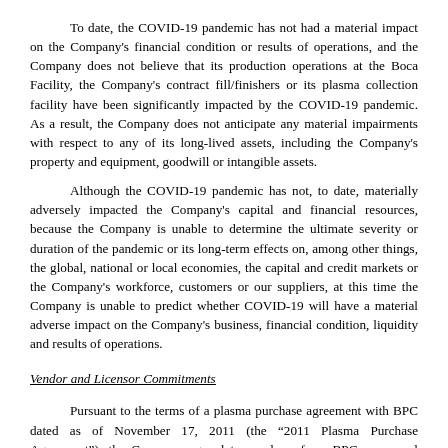To date, the COVID-19 pandemic has not had a material impact on the Company's financial condition or results of operations, and the Company does not believe that its production operations at the Boca Facility, the Company's contract fill/finishers or its plasma collection facility have been significantly impacted by the COVID-19 pandemic. As a result, the Company does not anticipate any material impairments with respect to any of its long-lived assets, including the Company's property and equipment, goodwill or intangible assets.
Although the COVID-19 pandemic has not, to date, materially adversely impacted the Company's capital and financial resources, because the Company is unable to determine the ultimate severity or duration of the pandemic or its long-term effects on, among other things, the global, national or local economies, the capital and credit markets or the Company's workforce, customers or our suppliers, at this time the Company is unable to predict whether COVID-19 will have a material adverse impact on the Company's business, financial condition, liquidity and results of operations.
Vendor and Licensor Commitments
Pursuant to the terms of a plasma purchase agreement with BPC dated as of November 17, 2011 (the “2011 Plasma Purchase Agreement”), the Company agreed to purchase from BPC an annual minimum volume of source plasma containing antibodies to RSV to be used in the manufacture of ASCENIV. The Company must purchase a to-be-determined and agreed upon annual minimum volume from BPC, but may also collect high-titer RSV plasma from up to five wholly-owned ADMA plasma collection facilities.  During 2015, the Company and BPC amended the 2011 Plasma Purchase Agreement to allow the Company the ability to collect its raw material RSV high-titer plasma from